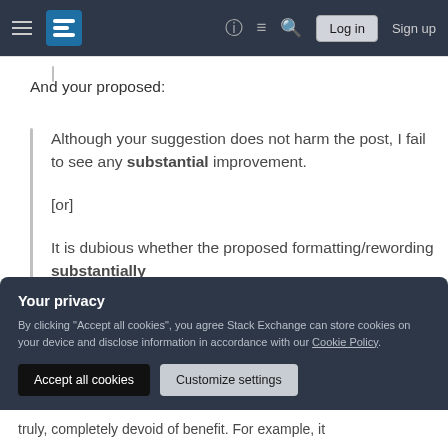Stack Exchange navigation bar with hamburger menu, logo, help, chat, search icons, Log in and Sign up buttons
And your proposed:
Although your suggestion does not harm the post, I fail to see any substantial improvement.
[or]
It is dubious whether the proposed formatting/rewording substantially
Your privacy
By clicking "Accept all cookies", you agree Stack Exchange can store cookies on your device and disclose information in accordance with our Cookie Policy.
truly, completely devoid of benefit. For example, it